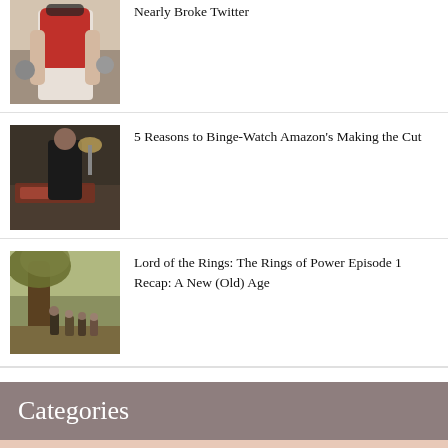[Figure (photo): Person with red scarf, back facing camera, sunglasses visible]
Nearly Broke Twitter
[Figure (photo): Scene from Making the Cut show, person in workshop]
5 Reasons to Binge-Watch Amazon's Making the Cut
[Figure (photo): Lord of the Rings scene with figures under a large tree]
Lord of the Rings: The Rings of Power Episode 1 Recap: A New (Old) Age
Categories